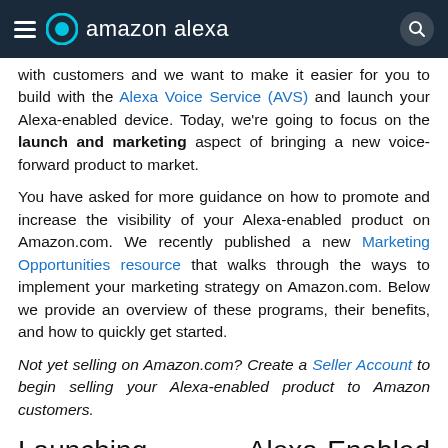amazon alexa
with customers and we want to make it easier for you to build with the Alexa Voice Service (AVS) and launch your Alexa-enabled device. Today, we're going to focus on the launch and marketing aspect of bringing a new voice-forward product to market.
You have asked for more guidance on how to promote and increase the visibility of your Alexa-enabled product on Amazon.com. We recently published a new Marketing Opportunities resource that walks through the ways to implement your marketing strategy on Amazon.com. Below we provide an overview of these programs, their benefits, and how to quickly get started.
Not yet selling on Amazon.com? Create a Seller Account to begin selling your Alexa-enabled product to Amazon customers.
Launching Alexa-Enabled Products on Amazon.com
A word about...